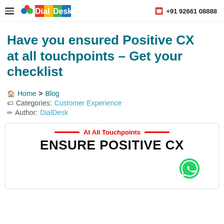DialDesk  +91 92661 08888
Have you ensured Positive CX at all touchpoints – Get your checklist
🏠 Home > Blog
🏷 Categories: Customer Experience
✏ Author: DialDesk
[Figure (infographic): Banner image with text: At All Touchpoints ENSURE POSITIVE CX, with red horizontal lines flanking the tagline, and a WhatsApp icon bubble in the lower right.]